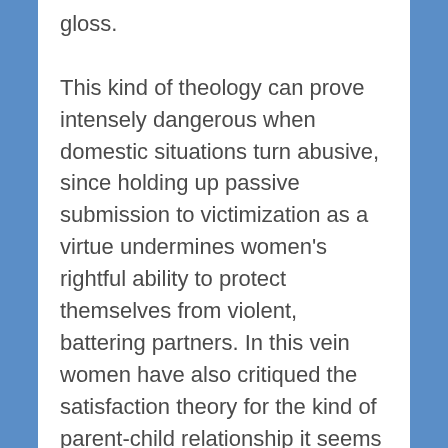gloss. This kind of theology can prove intensely dangerous when domestic situations turn abusive, since holding up passive submission to victimization as a virtue undermines women's rightful ability to protect themselves from violent, battering partners. In this vein women have also critiqued the satisfaction theory for the kind of parent-child relationship it seems to portray. A psychological pattern of needing to placate an angry parent, of buying love and forgiveness through